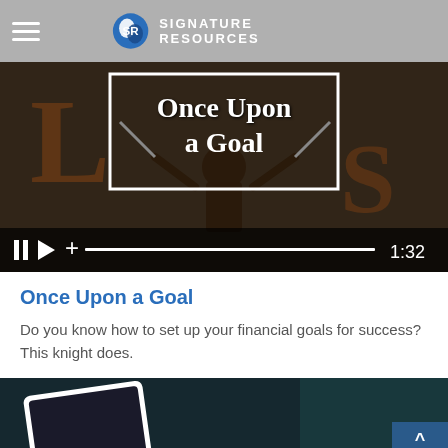SIGNATURE RESOURCES
[Figure (screenshot): Video player showing 'Once Upon a Goal' with a warrior/knight figure, video controls showing pause, play, plus, progress bar, and timestamp 1:32]
Once Upon a Goal
Do you know how to set up your financial goals for success? This knight does.
[Figure (photo): Dark background image showing a tablet device, with a blue scroll-to-top button in the bottom right corner]